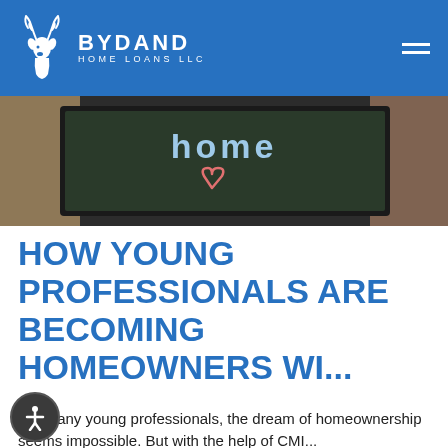BYDAND HOME LOANS LLC
[Figure (photo): Person holding a chalkboard sign with 'home' written on it and a heart drawn below the text]
HOW YOUNG PROFESSIONALS ARE BECOMING HOMEOWNERS WI...
For many young professionals, the dream of homeownership seems impossible. But with the help of CMI...